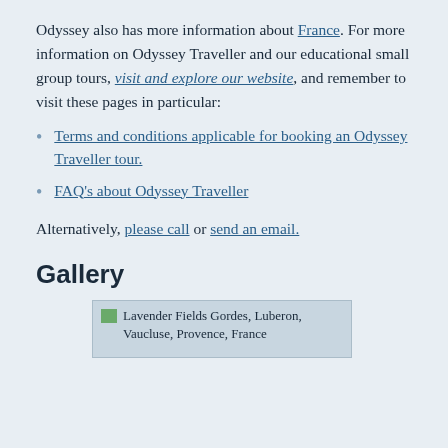Odyssey also has more information about France. For more information on Odyssey Traveller and our educational small group tours, visit and explore our website, and remember to visit these pages in particular:
Terms and conditions applicable for booking an Odyssey Traveller tour.
FAQ's about Odyssey Traveller
Alternatively, please call or send an email.
Gallery
[Figure (photo): Lavender Fields Gordes, Luberon, Vaucluse, Provence, France — image placeholder]